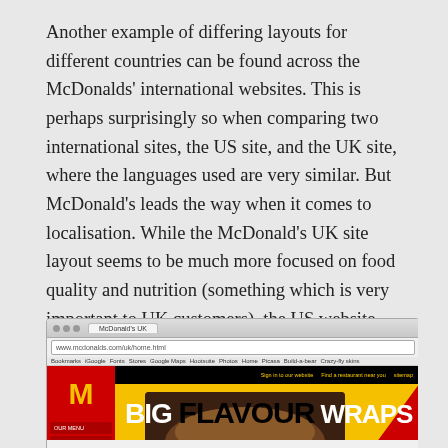Another example of differing layouts for different countries can be found across the McDonalds' international websites. This is perhaps surprisingly so when comparing two international sites, the US site, and the UK site, where the languages used are very similar. But McDonald's leads the way when it comes to localisation. While the McDonald's UK site layout seems to be much more focused on food quality and nutrition (something which is very important to UK customers), the US website seems more focused on fast food deals – and the layouts reflect this cultural difference.
[Figure (screenshot): Screenshot of the McDonald's UK website showing a yellow background with red sidebar containing the McDonald's logo and navigation, and a promotional image for 'BIG FLAVOUR WRAPS' with a photo of a wrap on a dark background.]